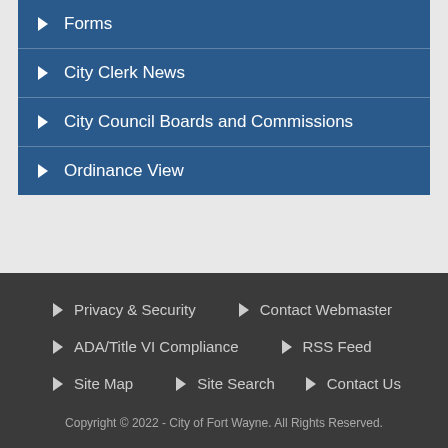Forms
City Clerk News
City Council Boards and Commissions
Ordinance View
Privacy & Security
Contact Webmaster
ADA/Title VI Compliance
RSS Feed
Site Map
Site Search
Contact Us
Copyright © 2022 - City of Fort Wayne. All Rights Reserved.